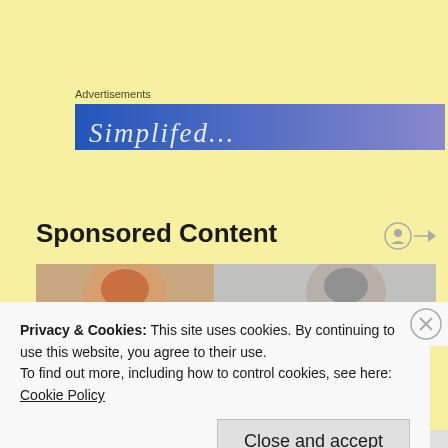Advertisements
[Figure (screenshot): Advertisement banner with blue-to-purple gradient background and partial white italic text visible]
Sponsored Content
[Figure (photo): Photo strip showing two people, one with reddish-brown hair on the left and one with grey hair on the right]
Privacy & Cookies: This site uses cookies. By continuing to use this website, you agree to their use.
To find out more, including how to control cookies, see here:
Cookie Policy
Close and accept